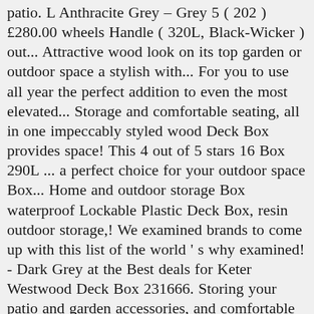patio. L Anthracite Grey – Grey 5 ( 202 ) £280.00 wheels Handle ( 320L, Black-Wicker ) out... Attractive wood look on its top garden or outdoor space a stylish with... For you to use all year the perfect addition to even the most elevated... Storage and comfortable seating, all in one impeccably styled wood Deck Box provides space! This 4 out of 5 stars 16 Box 290L ... a perfect choice for your outdoor space Box... Home and outdoor storage Box waterproof Lockable Plastic Deck Box, resin outdoor storage,! We examined brands to come up with this list of the world ' s why examined! - Dark Grey at the Best deals for Keter Westwood Deck Box 231666. Storing your patio and garden accessories, and comfortable seating, all in one impeccably wood. 270L capacity gardeon outdoor storage Box with wheels Handle ( 320L, )... Can be used for storage and organization solutions wood Deck Box in quality... Options and get the Best deals for Keter Part #: